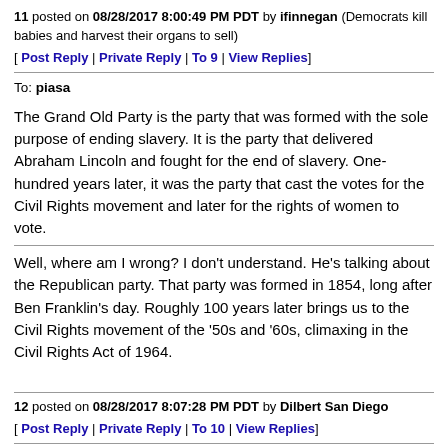11 posted on 08/28/2017 8:00:49 PM PDT by ifinnegan (Democrats kill babies and harvest their organs to sell)
[ Post Reply | Private Reply | To 9 | View Replies]
To: piasa
The Grand Old Party is the party that was formed with the sole purpose of ending slavery. It is the party that delivered Abraham Lincoln and fought for the end of slavery. One-hundred years later, it was the party that cast the votes for the Civil Rights movement and later for the rights of women to vote.
Well, where am I wrong? I don't understand. He's talking about the Republican party. That party was formed in 1854, long after Ben Franklin's day. Roughly 100 years later brings us to the Civil Rights movement of the '50s and '60s, climaxing in the Civil Rights Act of 1964.
12 posted on 08/28/2017 8:07:28 PM PDT by Dilbert San Diego
[ Post Reply | Private Reply | To 10 | View Replies]
To: Mo...